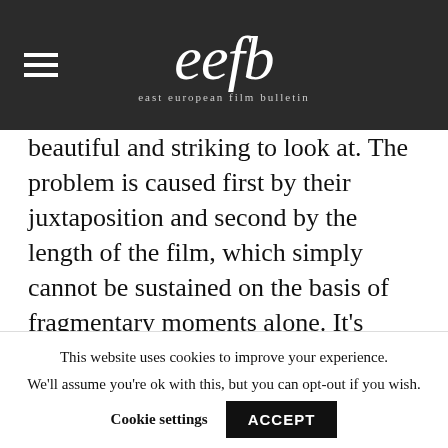eefb — east european film bulletin
beautiful and striking to look at. The problem is caused first by their juxtaposition and second by the length of the film, which simply cannot be sustained on the basis of fragmentary moments alone. It's something of a shame that more onus wasn't placed on the characters themselves, with the development of
This website uses cookies to improve your experience. We'll assume you're ok with this, but you can opt-out if you wish.
Cookie settings   ACCEPT